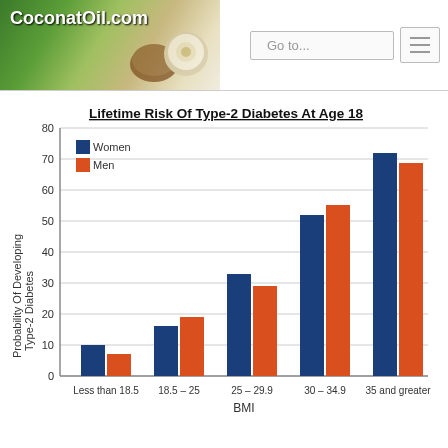CoconutOil.com | Go to...
[Figure (grouped-bar-chart): Lifetime Risk Of Type-2 Diabetes At Age 18]